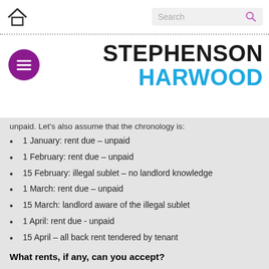Stephenson Harwood — home and search bar
[Figure (logo): Stephenson Harwood law firm logo with purple menu button]
unpaid. Let's also assume that the chronology is:
1 January: rent due – unpaid
1 February: rent due – unpaid
15 February: illegal sublet – no landlord knowledge
1 March: rent due – unpaid
15 March: landlord aware of the illegal sublet
1 April: rent due - unpaid
15 April – all back rent tendered by tenant
What rents, if any, can you accept?